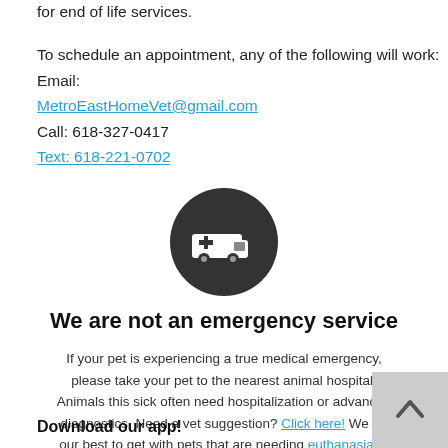for end of life services.
To schedule an appointment, any of the following will work:
Email:
MetroEastHomeVet@gmail.com
Call: 618-327-0417
Text: 618-221-0702
[Figure (illustration): Dark circular icon with a white ambulance/emergency vehicle with a medical cross symbol]
We are not an emergency service
If your pet is experiencing a true medical emergency, please take your pet to the nearest animal hospital! Animals this sick often need hospitalization or advanced diagnostics. Need a vet suggestion? Click here! We try our best to get with pets that are needing euthanasia at home within 24 hours.
Download our app!